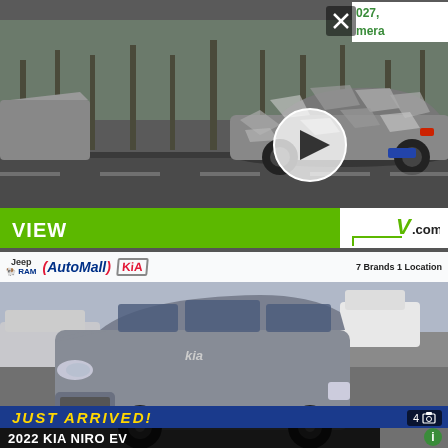[Figure (screenshot): Top portion showing a camouflaged Tesla car (sedan with camo wrap) in motion on a road, with trees in background. Video play button overlay visible. Gray background. Top-right corner shows partial text '027,' and 'mera' in green, with an X close button.]
027, mera
[Figure (photo): Green banner bar with 'VIEW' text in white on left, and a logo on right side reading 'V .com' with a white underline bracket shape on a white background panel.]
VIEW
.com
[Figure (photo): AutoMall dealership advertisement showing a gray 2022 Kia Niro EV in a dealer lot. Top bar shows Jeep, RAM, AutoMall, and Kia logos with text '7 Brands 1 Location'. Bottom has blue banner with yellow italic text 'JUST ARRIVED!' and a black bar reading '2022 KIA NIRO EV'. Photo count badge shows '4' in bottom right.]
7 Brands 1 Location
JUST ARRIVED!
2022 KIA NIRO EV